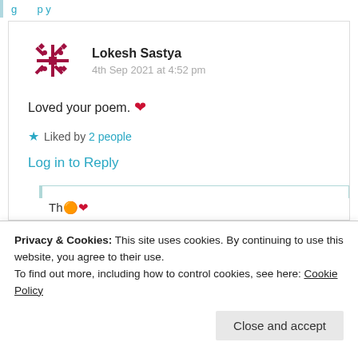Log in to Reply
Lokesh Sastya
4th Sep 2021 at 4:52 pm
Loved your poem. ❤
★ Liked by 2 people
Log in to Reply
Privacy & Cookies: This site uses cookies. By continuing to use this website, you agree to their use.
To find out more, including how to control cookies, see here: Cookie Policy
Close and accept